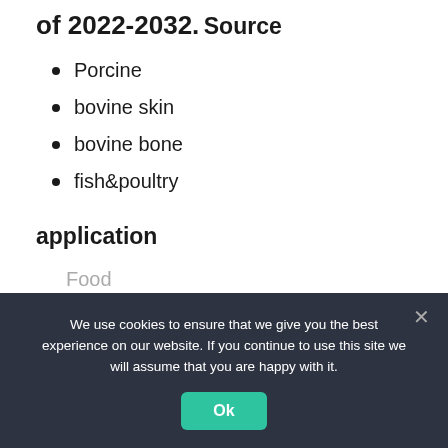of 2022-2032.
Source
Porcine
bovine skin
bovine bone
fish&poultry
application
Food
We use cookies to ensure that we give you the best experience on our website. If you continue to use this site we will assume that you are happy with it.